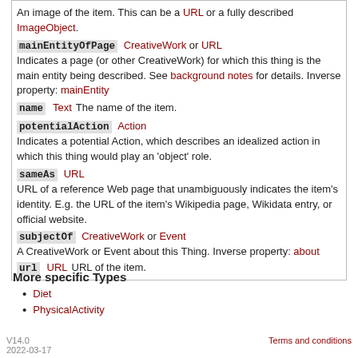| image | ImageObject or URL | An image of the item. This can be a URL or a fully described ImageObject. |
| mainEntityOfPage | CreativeWork or URL | Indicates a page (or other CreativeWork) for which this thing is the main entity being described. See background notes for details. Inverse property: mainEntity |
| name | Text | The name of the item. |
| potentialAction | Action | Indicates a potential Action, which describes an idealized action in which this thing would play an 'object' role. |
| sameAs | URL | URL of a reference Web page that unambiguously indicates the item's identity. E.g. the URL of the item's Wikipedia page, Wikidata entry, or official website. |
| subjectOf | CreativeWork or Event | A CreativeWork or Event about this Thing. Inverse property: about |
| url | URL | URL of the item. |
More specific Types
Diet
PhysicalActivity
V14.0  2022-03-17    Terms and conditions